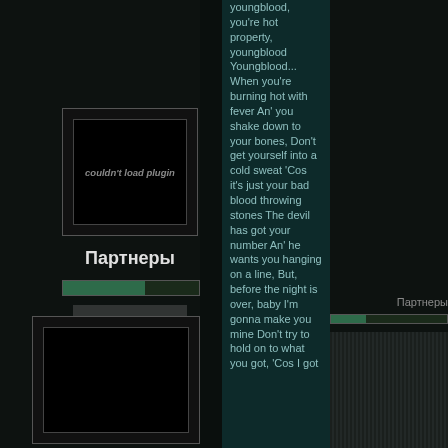[Figure (screenshot): Plugin box showing 'couldn't load plugin' message inside a bordered box]
Партнеры
[Figure (other): Green progress bar]
[Figure (screenshot): Second empty plugin/video box]
youngblood, you're hot property, youngblood Youngblood...

When you're burning hot with fever An' you shake down to your bones, Don't get yourself into a cold sweat 'Cos it's just your bad blood throwing stones The devil has got your number An' he wants you hanging on a line, But, before the night is over, baby I'm gonna make you mine

Don't try to hold on to what you got, 'Cos I got
Партнеры
[Figure (other): Small green progress bar on right side]
[Figure (other): Vertical striped pattern in bottom right]